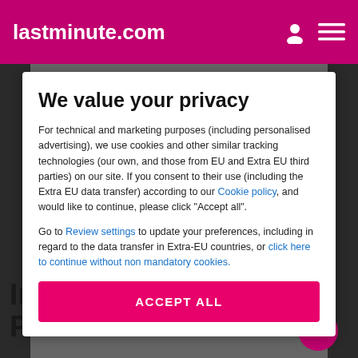lastminute.com
We value your privacy
For technical and marketing purposes (including personalised advertising), we use cookies and other similar tracking technologies (our own, and those from EU and Extra EU third parties) on our site. If you consent to their use (including the Extra EU data transfer) according to our Cookie policy, and would like to continue, please click "Accept all".
Go to Review settings to update your preferences, including in regard to the data transfer in Extra-EU countries, or click here to continue without non mandatory cookies.
ACCEPT ALL
Information about Palazzo Tasso Hotel